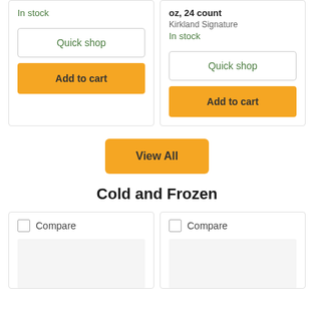Kirkland Signature
In stock
Quick shop
Add to cart
oz, 24 count
Kirkland Signature
In stock
Quick shop
Add to cart
View All
Cold and Frozen
Compare
Compare